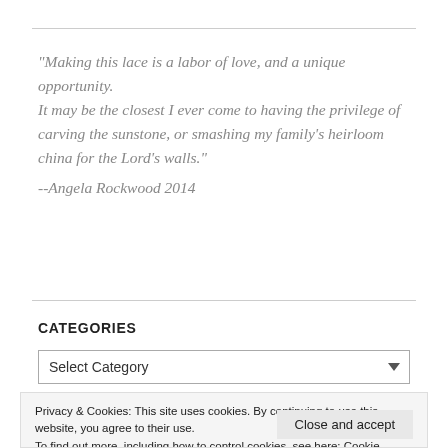"Making this lace is a labor of love, and a unique opportunity. It may be the closest I ever come to having the privilege of carving the sunstone, or smashing my family's heirloom china for the Lord's walls."
--Angela Rockwood 2014
CATEGORIES
Select Category
Privacy & Cookies: This site uses cookies. By continuing to use this website, you agree to their use. To find out more, including how to control cookies, see here: Cookie Policy
Close and accept
"How do I connect motifs?"